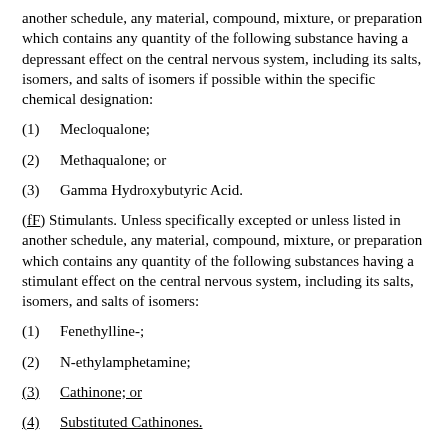another schedule, any material, compound, mixture, or preparation which contains any quantity of the following substance having a depressant effect on the central nervous system, including its salts, isomers, and salts of isomers if possible within the specific chemical designation:
(1)    Mecloqualone;
(2)    Methaqualone; or
(3)    Gamma Hydroxybutyric Acid.
(fF) Stimulants. Unless specifically excepted or unless listed in another schedule, any material, compound, mixture, or preparation which contains any quantity of the following substances having a stimulant effect on the central nervous system, including its salts, isomers, and salts of isomers:
(1)    Fenethylline-;
(2)    N-ethylamphetamine;
(3)    Cathinone; or
(4)    Substituted Cathinones.